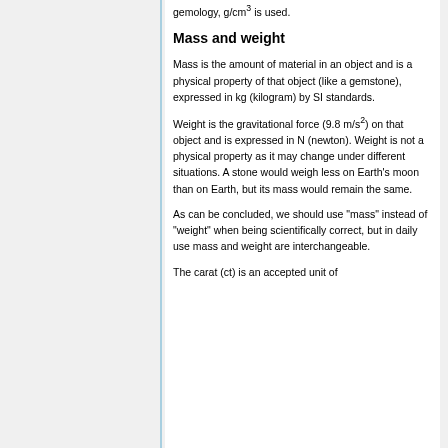gemology, g/cm³ is used.
Mass and weight
Mass is the amount of material in an object and is a physical property of that object (like a gemstone), expressed in kg (kilogram) by SI standards.
Weight is the gravitational force (9.8 m/s²) on that object and is expressed in N (newton). Weight is not a physical property as it may change under different situations. A stone would weigh less on Earth's moon than on Earth, but its mass would remain the same.
As can be concluded, we should use "mass" instead of "weight" when being scientifically correct, but in daily use mass and weight are interchangeable.
The carat (ct) is an accepted unit of